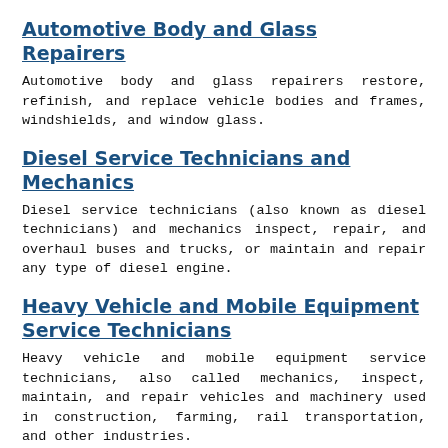Automotive Body and Glass Repairers
Automotive body and glass repairers restore, refinish, and replace vehicle bodies and frames, windshields, and window glass.
Diesel Service Technicians and Mechanics
Diesel service technicians (also known as diesel technicians) and mechanics inspect, repair, and overhaul buses and trucks, or maintain and repair any type of diesel engine.
Heavy Vehicle and Mobile Equipment Service Technicians
Heavy vehicle and mobile equipment service technicians, also called mechanics, inspect, maintain, and repair vehicles and machinery used in construction, farming, rail transportation, and other industries.
Small Engine Mechanics
Small engine mechanics inspect, service, and repair motorized power equipment. Mechanics often specialize in...